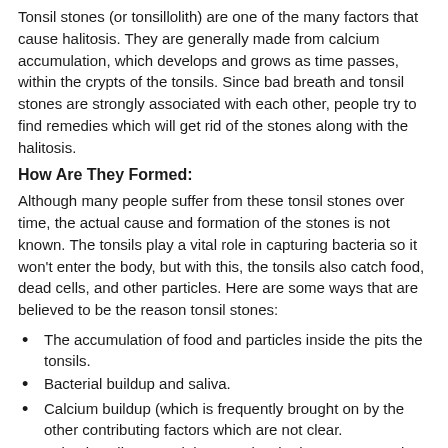Tonsil stones (or tonsillolith) are one of the many factors that cause halitosis. They are generally made from calcium accumulation, which develops and grows as time passes, within the crypts of the tonsils. Since bad breath and tonsil stones are strongly associated with each other, people try to find remedies which will get rid of the stones along with the halitosis.
How Are They Formed:
Although many people suffer from these tonsil stones over time, the actual cause and formation of the stones is not known. The tonsils play a vital role in capturing bacteria so it won't enter the body, but with this, the tonsils also catch food, dead cells, and other particles. Here are some ways that are believed to be the reason tonsil stones:
The accumulation of food and particles inside the pits the tonsils.
Bacterial buildup and saliva.
Calcium buildup (which is frequently brought on by the other contributing factors which are not clear.
Scientists discovered that people who have post nasal drip can also develop tonsil stones.
So, although there is no one fixed cause or factor which causes them to form, there are certain thoughts which have been formulated regarding how the stones develop.
Some Side Effects of Tonsil Stones: